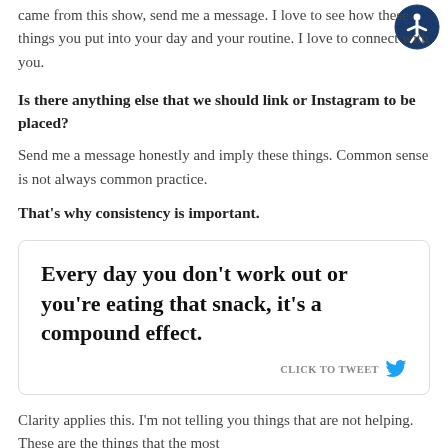came from this show, send me a message. I love to see how these things you put into your day and your routine. I love to connect with you.
Is there anything else that we should link or Instagram to be placed?
Send me a message honestly and imply these things. Common sense is not always common practice.
That's why consistency is important.
[Figure (infographic): Tweet box with quote: Every day you don't work out or you're eating that snack, it's a compound effect. With CLICK TO TWEET label and Twitter bird icon.]
Clarity applies this. I'm not telling you things that are not helping. These are the things that the most